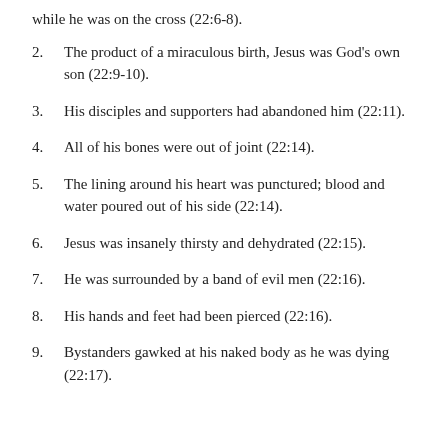while he was on the cross (22:6-8).
2. The product of a miraculous birth, Jesus was God’s own son (22:9-10).
3. His disciples and supporters had abandoned him (22:11).
4. All of his bones were out of joint (22:14).
5. The lining around his heart was punctured; blood and water poured out of his side (22:14).
6. Jesus was insanely thirsty and dehydrated (22:15).
7. He was surrounded by a band of evil men (22:16).
8. His hands and feet had been pierced (22:16).
9. Bystanders gawked at his naked body as he was dying (22:17).